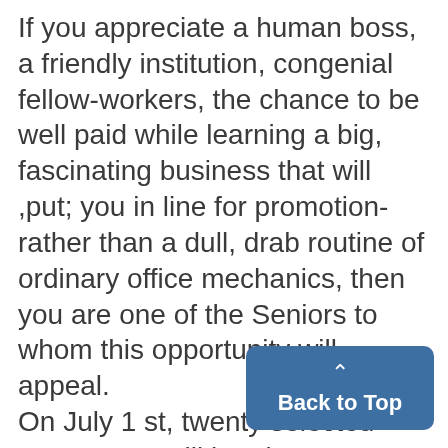If you appreciate a human boss, a friendly institution, congenial fellow-workers, the chance to be well paid while learning a big, fascinating business that will ,put; you in line for promotion-rather than a dull, drab routine of ordinary office mechanics, then you are one of the Seniors to whom this opportunity will appeal.
On July 1 st, twenty selected young men will be given positions with salaries, and a chance to begin success in the Casualty Insur-ance and Fidelity and Surety Bond business